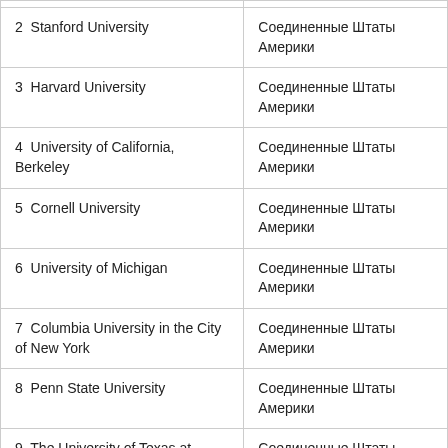| 2  Stanford University | Соединенные Штаты Америки |
| 3  Harvard University | Соединенные Штаты Америки |
| 4  University of California, Berkeley | Соединенные Штаты Америки |
| 5  Cornell University | Соединенные Штаты Америки |
| 6  University of Michigan | Соединенные Штаты Америки |
| 7  Columbia University in the City of New York | Соединенные Штаты Америки |
| 8  Penn State University | Соединенные Штаты Америки |
| 9  The University of Texas at Austin | Соединенные Штаты Америки |